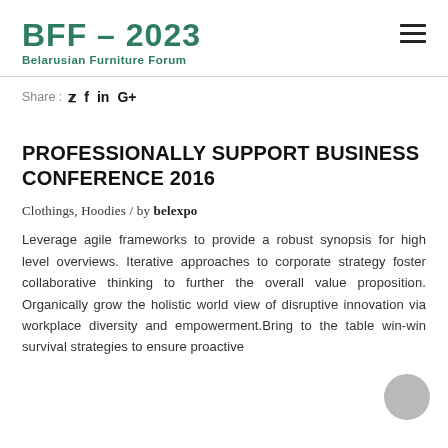BFF – 2023
Belarusian Furniture Forum
Share :  🐦 f in G+
PROFESSIONALLY SUPPORT BUSINESS CONFERENCE 2016
Clothings, Hoodies / by belexpo
Leverage agile frameworks to provide a robust synopsis for high level overviews. Iterative approaches to corporate strategy foster collaborative thinking to further the overall value proposition. Organically grow the holistic world view of disruptive innovation via workplace diversity and empowerment.Bring to the table win-win survival strategies to ensure proactive